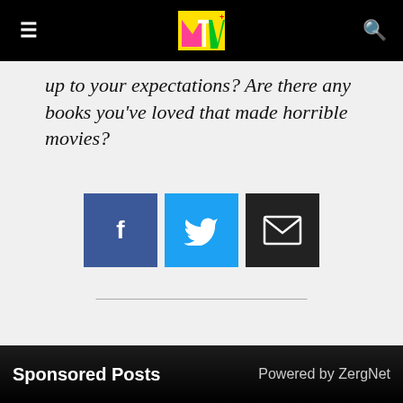MTV logo, navigation bar
up to your expectations? Are there any books you've loved that made horrible movies?
[Figure (other): Social share buttons: Facebook, Twitter, Email]
Sponsored Posts — Powered by ZergNet